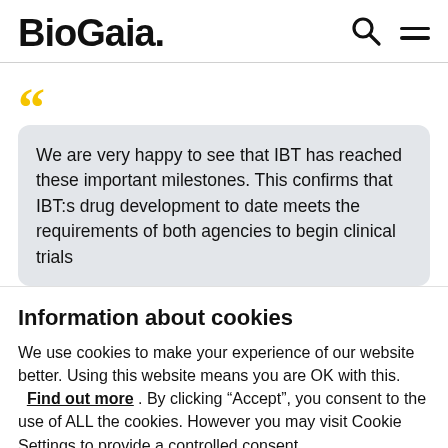BioGaia.
We are very happy to see that IBT has reached these important milestones. This confirms that IBT:s drug development to date meets the requirements of both agencies to begin clinical trials
Information about cookies
We use cookies to make your experience of our website better. Using this website means you are OK with this. Find out more . By clicking “Accept”, you consent to the use of ALL the cookies. However you may visit Cookie Settings to provide a controlled consent.
Cookie settings    ACCEPT